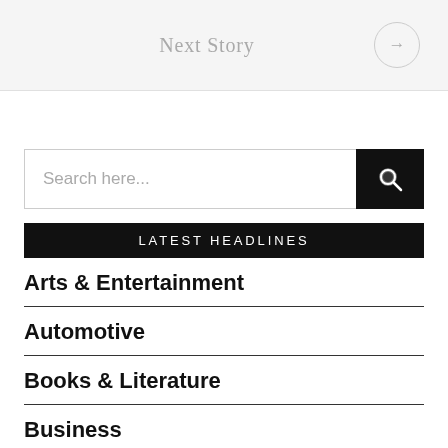Next Story →
[Figure (other): Search input field with dark search button containing magnifying glass icon]
LATEST HEADLINES
Arts & Entertainment
Automotive
Books & Literature
Business